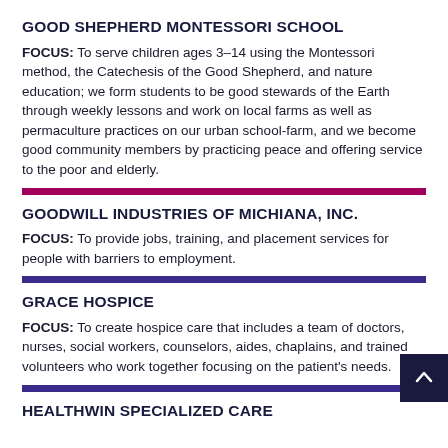GOOD SHEPHERD MONTESSORI SCHOOL
FOCUS: To serve children ages 3–14 using the Montessori method, the Catechesis of the Good Shepherd, and nature education; we form students to be good stewards of the Earth through weekly lessons and work on local farms as well as permaculture practices on our urban school-farm, and we become good community members by practicing peace and offering service to the poor and elderly.
GOODWILL INDUSTRIES OF MICHIANA, INC.
FOCUS: To provide jobs, training, and placement services for people with barriers to employment.
GRACE HOSPICE
FOCUS: To create hospice care that includes a team of doctors, nurses, social workers, counselors, aides, chaplains, and trained volunteers who work together focusing on the patient's needs.
HEALTHWIN SPECIALIZED CARE